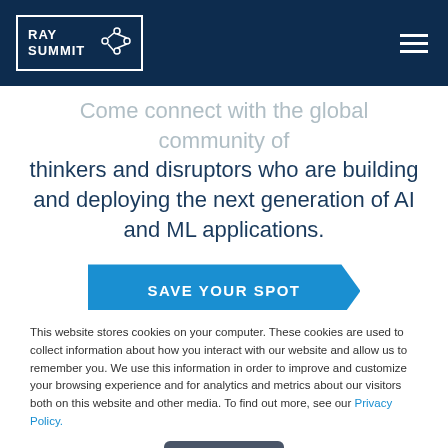RAY SUMMIT
thinkers and disruptors who are building and deploying the next generation of AI and ML applications.
SAVE YOUR SPOT
This website stores cookies on your computer. These cookies are used to collect information about how you interact with our website and allow us to remember you. We use this information in order to improve and customize your browsing experience and for analytics and metrics about our visitors both on this website and other media. To find out more, see our Privacy Policy.
Accept